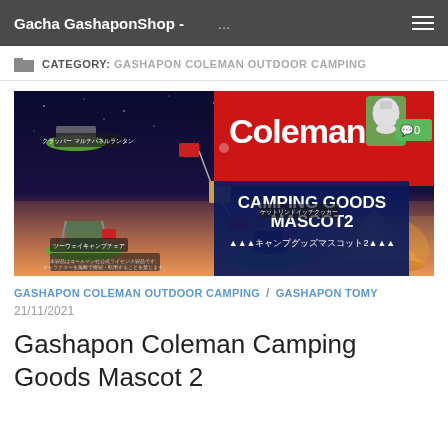Gacha GashaponShop - ... ☰
CATEGORY: GASHAPON COLEMAN OUTDOOR CAMPING
[Figure (photo): Coleman Camping Goods Mascot 2 promotional banner showing gashapon miniature camping items (chair, cookware, lantern keychains) on green display pads against a night camping scene with a glowing tent and city lights in background. Coleman logo in red and white top right. Comment badge showing 0 comments in green top right corner.]
GASHAPON COLEMAN OUTDOOR CAMPING / GASHAPON TOMY
21/11/2021
Gashapon Coleman Camping Goods Mascot 2